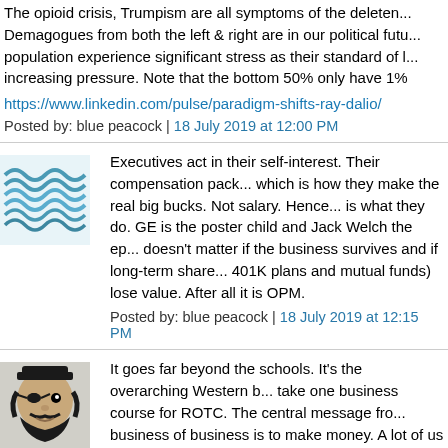The opioid crisis, Trumpism are all symptoms of the deleterious effects. Demagogues from both the left & right are in our political future as the population experience significant stress as their standard of living is under increasing pressure. Note that the bottom 50% only have 1%
https://www.linkedin.com/pulse/paradigm-shifts-ray-dalio/
Posted by: blue peacock | 18 July 2019 at 12:00 PM
[Figure (illustration): Blue wavy lines avatar icon]
Executives act in their self-interest. Their compensation packages are which is how they make the real big bucks. Not salary. Hence buybacks is what they do. GE is the poster child and Jack Welch the epitome. It doesn't matter if the business survives and if long-term shareholders (via 401K plans and mutual funds) lose value. After all it is OPM.
Posted by: blue peacock | 18 July 2019 at 12:15 PM
[Figure (illustration): Pirate avatar icon - black and white illustration of a pirate with beard]
It goes far beyond the schools. It's the overarching Western b take one business course for ROTC. The central message fro business of business is to make money. A lot of us found this but we never harbored dreams of being massively rich. This i semiconscious said below about Boeing maximizing dividend They may talk about building fantastic aircraft, but that's just t